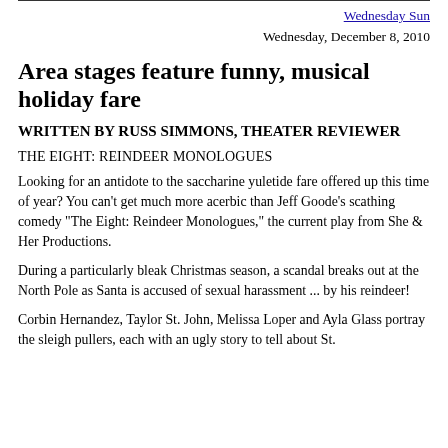Wednesday Sun
Wednesday, December 8, 2010
Area stages feature funny, musical holiday fare
WRITTEN BY RUSS SIMMONS, THEATER REVIEWER
THE EIGHT: REINDEER MONOLOGUES
Looking for an antidote to the saccharine yuletide fare offered up this time of year? You can't get much more acerbic than Jeff Goode's scathing comedy "The Eight: Reindeer Monologues," the current play from She & Her Productions.
During a particularly bleak Christmas season, a scandal breaks out at the North Pole as Santa is accused of sexual harassment ... by his reindeer!
Corbin Hernandez, Taylor St. John, Melissa Loper and Ayla Glass portray the sleigh pullers, each with an ugly story to tell about St.